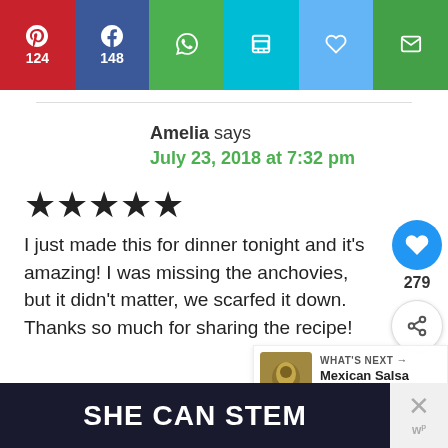[Figure (screenshot): Social sharing bar with Pinterest (124), Facebook (148), WhatsApp, Save, Favorite, and Email buttons]
Amelia says
July 23, 2018 at 7:32 pm
[Figure (other): Five black stars rating]
I just made this for dinner tonight and it's amazing! I was missing the anchovies, but it didn't matter, we scarfed it down. Thanks so much for sharing the recipe!
[Figure (other): Floating heart button with 279 likes and share icon]
[Figure (other): What's Next panel with Mexican Salsa Verde thumbnail]
[Figure (other): SHE CAN STEM advertisement banner with close button]